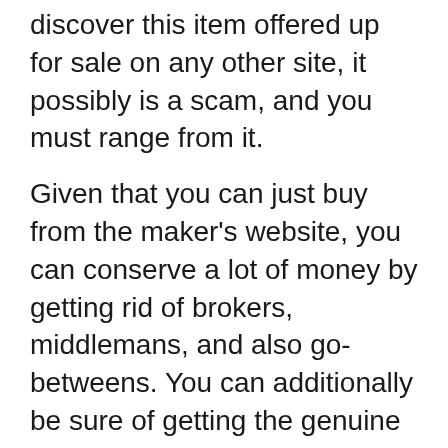discover this item offered up for sale on any other site, it possibly is a scam, and you must range from it.
Given that you can just buy from the maker's website, you can conserve a lot of money by getting rid of brokers, middlemans, and also go-betweens. You can additionally be sure of getting the genuine offer when acquiring Java Burn straight from the producer. It is offered in 3 distinct bundles– the 30, 90, as well as 180-day supply. Here is a breakdown of the rates:.
30-day (1 bag) supply– $49 + delivery. 90-day (3 bags) supply– $102 + delivery. 180-day (6 pouches) supply– $174 + shipping.